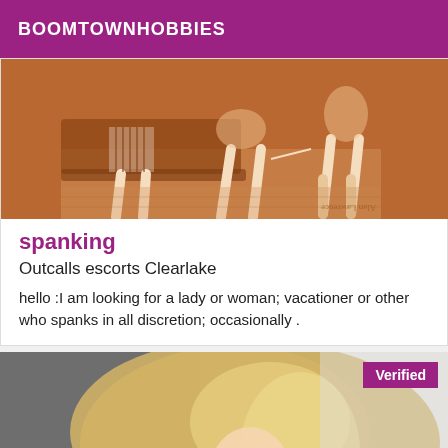BOOMTOWNHOBBIES
[Figure (illustration): Brown-toned illustration of figures in vintage style, showing legs and figures in a room scene. Watermark text visible bottom right.]
spanking
Outcalls escorts Clearlake
hello :I am looking for a lady or woman; vacationer or other who spanks in all discretion; occasionally .
[Figure (photo): Photo of a blonde woman taking a mirror selfie with a smartphone, smiling. Verified badge overlay in top right corner.]